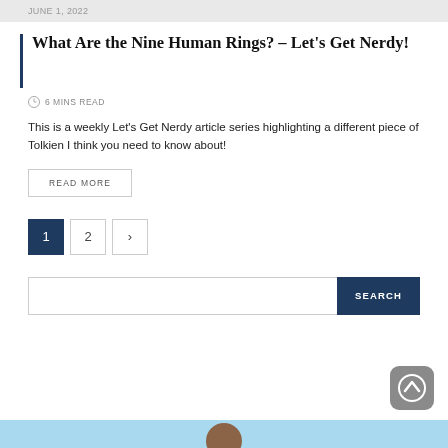JUNE 1, 2022
What Are the Nine Human Rings? – Let's Get Nerdy!
6 MINS READ
This is a weekly Let's Get Nerdy article series highlighting a different piece of Tolkien I think you need to know about!
READ MORE
1  2  ›
SEARCH
[Figure (other): Scroll to top button (arrow up in grey rounded square)]
[Figure (photo): Bottom strip with avatar/profile image partial view]